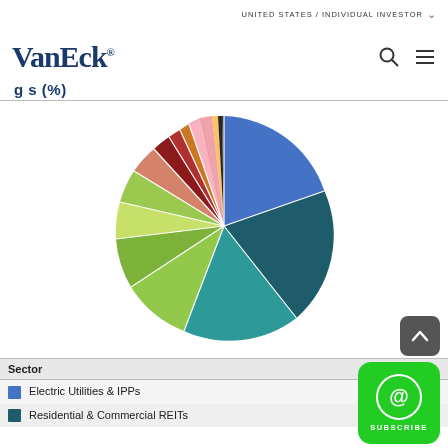VanEck — UNITED STATES / INDIVIDUAL INVESTOR
Holdings (%)
[Figure (pie-chart): Holdings (%)]
| Sector | % |
| --- | --- |
| Electric Utilities & IPPs |  |
| Residential & Commercial REITs | 16.2 |